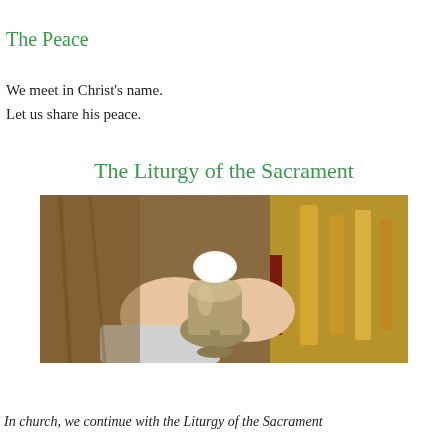The Peace
We meet in Christ's name.
Let us share his peace.
The Liturgy of the Sacrament
[Figure (photo): Hands holding a silver chalice/goblet with a white communion host above it, golden candelabra in the background, church setting.]
In church, we continue with the Liturgy of the Sacrament